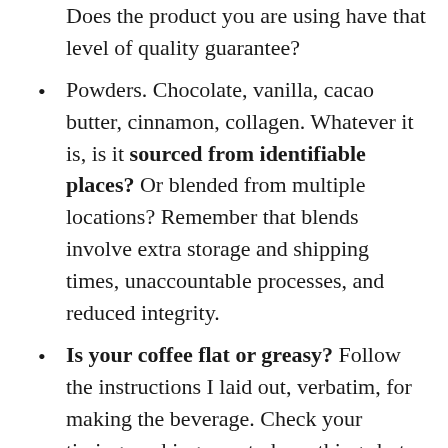Does the product you are using have that level of quality guarantee?
Powders. Chocolate, vanilla, cacao butter, cinnamon, collagen. Whatever it is, is it sourced from identifiable places? Or blended from multiple locations? Remember that blends involve extra storage and shipping times, unaccountable processes, and reduced integrity.
Is your coffee flat or greasy? Follow the instructions I laid out, verbatim, for making the beverage. Check your timing, making sure to keep things hot and blending fast and long enough for good emulsification.